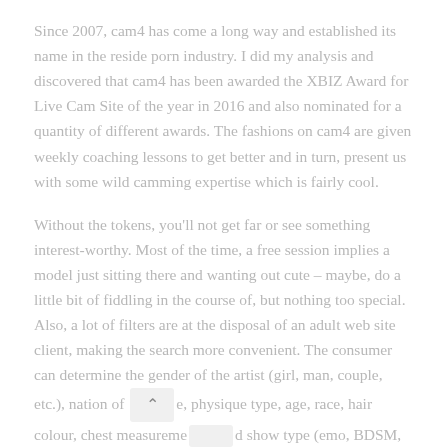Since 2007, cam4 has come a long way and established its name in the reside porn industry. I did my analysis and discovered that cam4 has been awarded the XBIZ Award for Live Cam Site of the year in 2016 and also nominated for a quantity of different awards. The fashions on cam4 are given weekly coaching lessons to get better and in turn, present us with some wild camming expertise which is fairly cool.
Without the tokens, you'll not get far or see something interest-worthy. Most of the time, a free session implies a model just sitting there and wanting out cute – maybe, do a little bit of fiddling in the course of, but nothing too special. Also, a lot of filters are at the disposal of an adult web site client, making the search more convenient. The consumer can determine the gender of the artist (girl, man, couple, etc.), nation of [origin], physique type, age, race, hair colour, chest measurement, and show type (emo, BDSM, and so on.). After that, the algorithm will